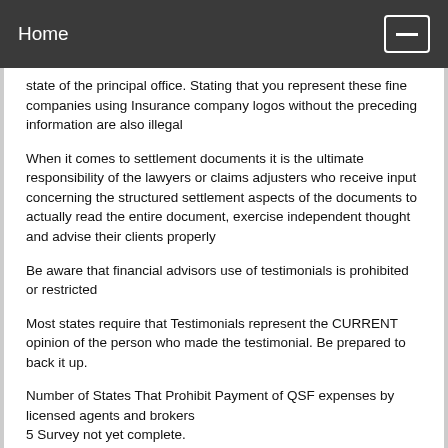Home
state of the principal office. Stating that you represent these fine companies using Insurance company logos without the preceding information are also illegal
When it comes to settlement documents it is the ultimate responsibility of the lawyers or claims adjusters who receive input concerning the structured settlement aspects of the documents to actually read the entire document, exercise independent thought and advise their clients properly
Be aware that financial advisors use of testimonials is prohibited or restricted
Most states require that Testimonials represent the CURRENT opinion of the person who made the testimonial. Be prepared to back it up.
Number of States That Prohibit Payment of QSF expenses by licensed agents and brokers
5 Survey not yet complete.